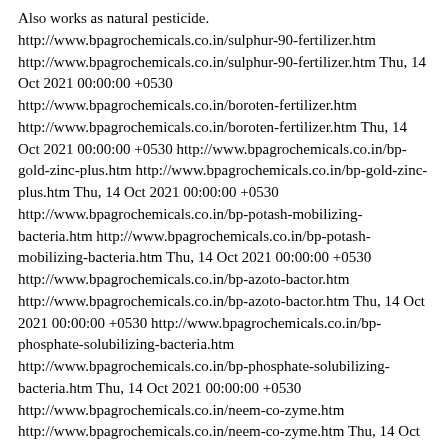Also works as natural pesticide. http://www.bpagrochemicals.co.in/sulphur-90-fertilizer.htm http://www.bpagrochemicals.co.in/sulphur-90-fertilizer.htm Thu, 14 Oct 2021 00:00:00 +0530 http://www.bpagrochemicals.co.in/boroten-fertilizer.htm http://www.bpagrochemicals.co.in/boroten-fertilizer.htm Thu, 14 Oct 2021 00:00:00 +0530 http://www.bpagrochemicals.co.in/bp-gold-zinc-plus.htm http://www.bpagrochemicals.co.in/bp-gold-zinc-plus.htm Thu, 14 Oct 2021 00:00:00 +0530 http://www.bpagrochemicals.co.in/bp-potash-mobilizing-bacteria.htm http://www.bpagrochemicals.co.in/bp-potash-mobilizing-bacteria.htm Thu, 14 Oct 2021 00:00:00 +0530 http://www.bpagrochemicals.co.in/bp-azoto-bactor.htm http://www.bpagrochemicals.co.in/bp-azoto-bactor.htm Thu, 14 Oct 2021 00:00:00 +0530 http://www.bpagrochemicals.co.in/bp-phosphate-solubilizing-bacteria.htm http://www.bpagrochemicals.co.in/bp-phosphate-solubilizing-bacteria.htm Thu, 14 Oct 2021 00:00:00 +0530 http://www.bpagrochemicals.co.in/neem-co-zyme.htm http://www.bpagrochemicals.co.in/neem-co-zyme.htm Thu, 14 Oct 2021 00:00:00 +0530 http://www.bpagrochemicals.co.in/neem-active-bio-pesticide-growth-promoter.htm http://www.bpagrochemicals.co.in/neem-active-bio-pesticide-growth-promoter.htm Fri, 22 Oct 2021 00:00:00 +0530 Availaible in 3000PPM, 1500ppm &amp; 300PPM